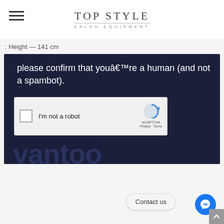TOP STYLE SALON EQUIPMENT
: Height — 141 cm
[Figure (screenshot): Dark navy background CAPTCHA verification screen showing text 'please confirm that youâ€™re a human (and not a spambot).' with a reCAPTCHA widget showing checkbox 'I'm not a robot' and reCAPTCHA branding, with large blurred text at the bottom]
Contact us
[Figure (illustration): Blue circular Facebook Messenger chat bubble icon]